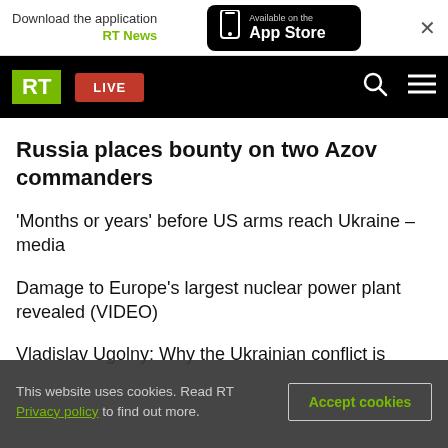Download the application RT News — Available on the App Store
[Figure (logo): RT logo and navigation bar with LIVE button, search and menu icons]
Russia places bounty on two Azov commanders
'Months or years' before US arms reach Ukraine – media
Damage to Europe's largest nuclear power plant revealed (VIDEO)
Vladislav Ugolny: Why the Ukrainian conflict is
This website uses cookies. Read RT Privacy policy to find out more.